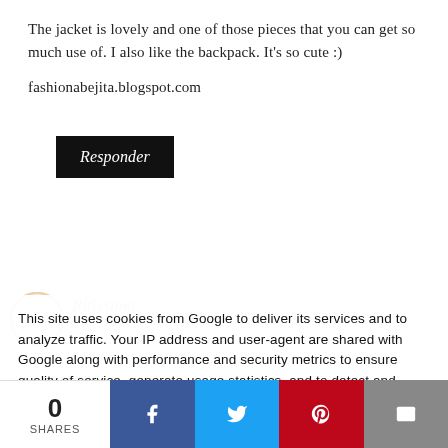The jacket is lovely and one of those pieces that you can get so much use of. I also like the backpack. It's so cute :)
fashionabejita.blogspot.com
Responder
[Figure (other): Faded blog post preview with avatar circle, author name 'Ritissima', post titles and links in the background]
This site uses cookies from Google to deliver its services and to analyze traffic. Your IP address and user-agent are shared with Google along with performance and security metrics to ensure quality of service, generate usage statistics, and to detect and address abuse.
RITISSIMA BLOG
MAKEUP LOVERS GIVEAWAY participa!
0
SHARES